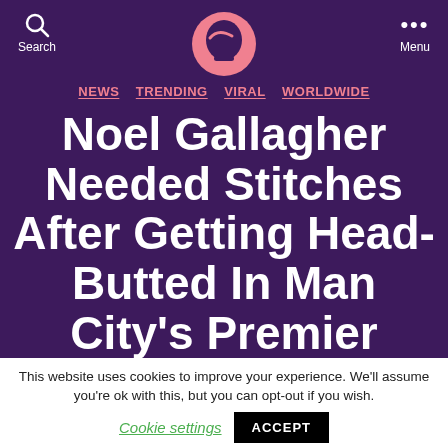Search   [Logo]   Menu
NEWS  TRENDING  VIRAL  WORLDWIDE
Noel Gallagher Needed Stitches After Getting Head-Butted In Man City's Premier League
This website uses cookies to improve your experience. We'll assume you're ok with this, but you can opt-out if you wish.
Cookie settings   ACCEPT